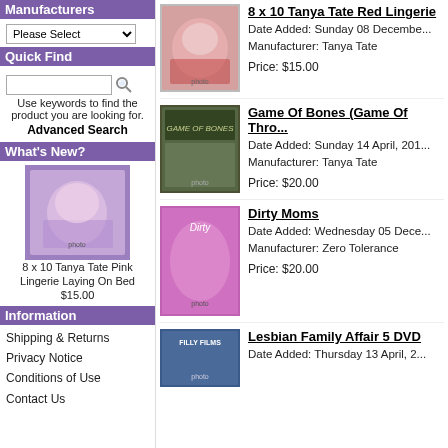Manufacturers
Please Select
Quick Find
Use keywords to find the product you are looking for.
Advanced Search
What's New?
[Figure (photo): 8 x 10 Tanya Tate Pink Lingerie Laying On Bed product thumbnail]
8 x 10 Tanya Tate Pink Lingerie Laying On Bed
$15.00
Information
Shipping & Returns
Privacy Notice
Conditions of Use
Contact Us
[Figure (photo): 8 x 10 Tanya Tate Red Lingerie product thumbnail photo]
8 x 10 Tanya Tate Red Lingerie
Date Added: Sunday 08 December
Manufacturer: Tanya Tate
Price: $15.00
[Figure (photo): Game Of Bones (Game Of Thrones parody) DVD cover thumbnail]
Game Of Bones (Game Of Thro...
Date Added: Sunday 14 April, 201...
Manufacturer: Tanya Tate
Price: $20.00
[Figure (photo): Dirty Moms DVD cover thumbnail]
Dirty Moms
Date Added: Wednesday 05 Dece...
Manufacturer: Zero Tolerance
Price: $20.00
[Figure (photo): Lesbian Family Affair 5 DVD cover thumbnail - Filly Films]
Lesbian Family Affair 5 DVD
Date Added: Thursday 13 April, 2...